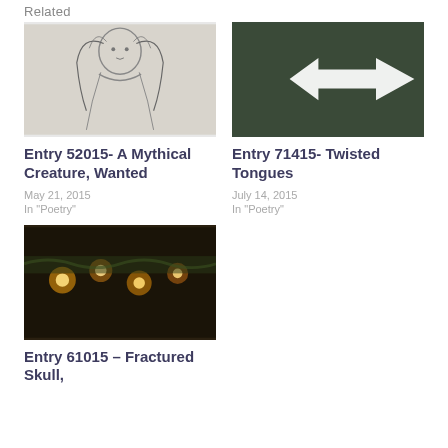Related
[Figure (photo): Pencil sketch of a female figure with flowing hair]
Entry 52015- A Mythical Creature, Wanted
May 21, 2015
In "Poetry"
[Figure (photo): Dark background with a white double-headed horizontal arrow sign]
Entry 71415- Twisted Tongues
July 14, 2015
In "Poetry"
[Figure (photo): Interior photo with hanging lights and greenery, warm golden tones]
Entry 61015 – Fractured Skull,